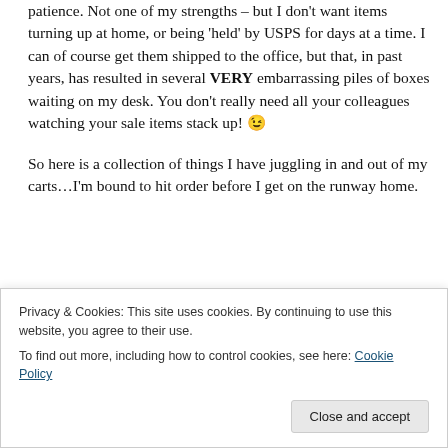Being away for 4 weeks at a time means I have to practice patience. Not one of my strengths – but I don't want items turning up at home, or being 'held' by USPS for days at a time. I can of course get them shipped to the office, but that, in past years, has resulted in several VERY embarrassing piles of boxes waiting on my desk. You don't really need all your colleagues watching your sale items stack up! 😉
So here is a collection of things I have juggling in and out of my carts…I'm bound to hit order before I get on the runway home.
Privacy & Cookies: This site uses cookies. By continuing to use this website, you agree to their use. To find out more, including how to control cookies, see here: Cookie Policy